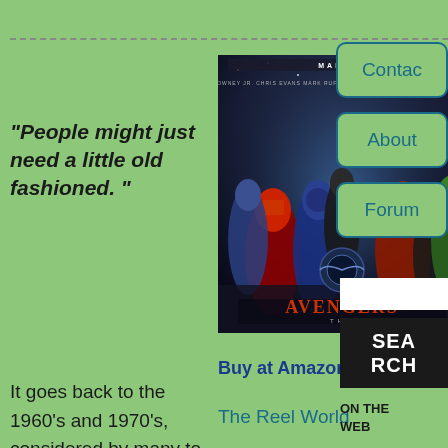“People might just need a little old fashioned.”
[Figure (photo): The Avengers movie poster showing Iron Man, Captain America, Thor, Hulk, Black Widow, and Hawkeye with the S.H.I.E.L.D. logo]
Buy at Amazon.com
The Reel World
It goes back to the 1960’s and 1970’s, considered by many to be the Second Golden Age of Comics. That’s when Stan Lee and Jack Kirby
Contac
About
Forum
SEA RCH
ON THE WEB